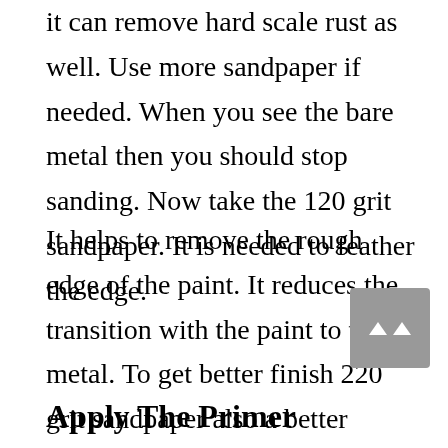it can remove hard scale rust as well. Use more sandpaper if needed. When you see the bare metal then you should stop sanding. Now take the 120 grit sandpaper. It is needed to feather the edge.
It helps to remove the rough edge of the paint. It reduces the transition with the paint to the metal. To get better finish 220 grit sandpaper also a better choice to sand. It's time to use the liquid rust inhibitor. It does not let new rust take place.
Apply The Primer